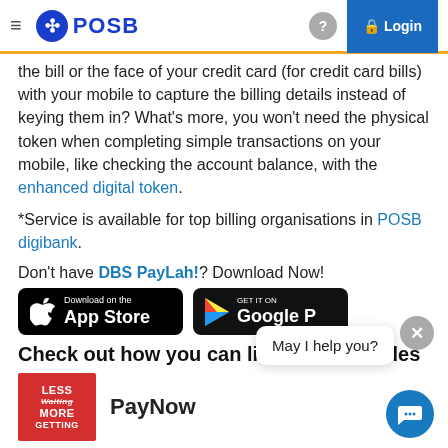POSB | Login
the bill or the face of your credit card (for credit card bills) with your mobile to capture the billing details instead of keying them in? What's more, you won't need the physical token when completing simple transactions on your mobile, like checking the account balance, with the enhanced digital token.
*Service is available for top billing organisations in POSB digibank.
Don't have DBS PayLah!? Download Now!
[Figure (screenshot): App Store and Google Play download buttons for DBS PayLah app]
Check out how you can live more bank les
PayNow